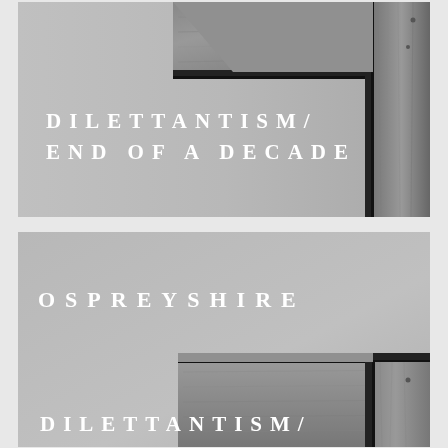[Figure (illustration): Album cover showing wooden picture frame corner against gray background with white text reading DILETTANTISM / END OF A DECADE]
[Figure (illustration): Album cover showing wooden picture frame corner against gray background with white text reading OSPREYSHIRE and DILETTANTISM/]